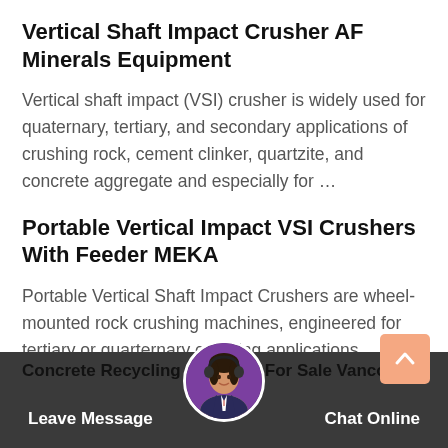Vertical Shaft Impact Crusher AF Minerals Equipment
Vertical shaft impact (VSI) crusher is widely used for quaternary, tertiary, and secondary applications of crushing rock, cement clinker, quartzite, and concrete aggregate and especially for …
Portable Vertical Impact VSI Crushers With Feeder MEKA
Portable Vertical Shaft Impact Crushers are wheel-mounted rock crushing machines, engineered for tertiary or quarternary crushing applications. Equipped with a vertical shaft impact crusher and a feed hopper with belt feeder, it is used in the last stage of a multistage crushing process or a stand-alone unit processing crushed material.
Concrete Recycling Crushers For Sale Vancouver
Leave Message   Chat Online